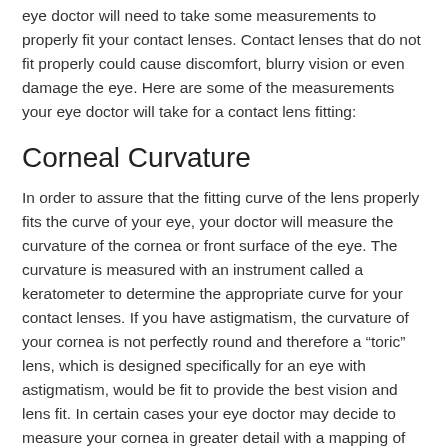eye doctor will need to take some measurements to properly fit your contact lenses. Contact lenses that do not fit properly could cause discomfort, blurry vision or even damage the eye. Here are some of the measurements your eye doctor will take for a contact lens fitting:
Corneal Curvature
In order to assure that the fitting curve of the lens properly fits the curve of your eye, your doctor will measure the curvature of the cornea or front surface of the eye. The curvature is measured with an instrument called a keratometer to determine the appropriate curve for your contact lenses. If you have astigmatism, the curvature of your cornea is not perfectly round and therefore a “toric” lens, which is designed specifically for an eye with astigmatism, would be fit to provide the best vision and lens fit. In certain cases your eye doctor may decide to measure your cornea in greater detail with a mapping of the corneal surface called corneal topography.
Pupil or Iris Size